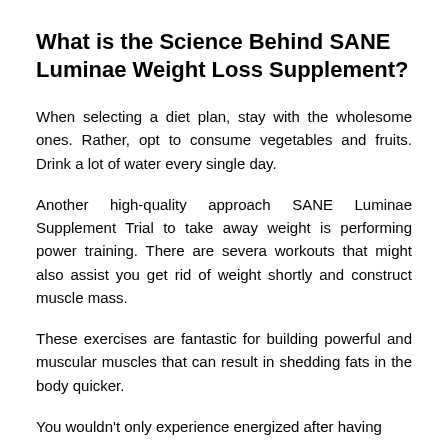What is the Science Behind SANE Luminae Weight Loss Supplement?
When selecting a diet plan, stay with the wholesome ones. Rather, opt to consume vegetables and fruits. Drink a lot of water every single day.
Another high-quality approach SANE Luminae Supplement Trial to take away weight is performing power training. There are severa workouts that might also assist you get rid of weight shortly and construct muscle mass.
These exercises are fantastic for building powerful and muscular muscles that can result in shedding fats in the body quicker.
You wouldn't only experience energized after having